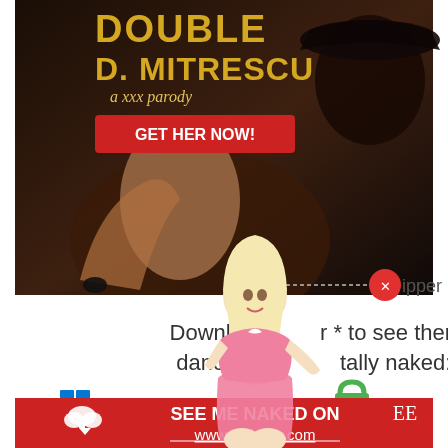[Figure (screenshot): Adult content advertisement screenshot showing promotional image for 'Double D. Mitrescu a xxx parody' with a GET HER NOW! button, overlaid with an istripper popup showing a blonde woman in pink lingerie, text 'Download istripper * to see them dancing and totally naked:', Windows available and SSL secured icons, and a red CTA button 'SEE ME NAKED ON www.istripper.com']